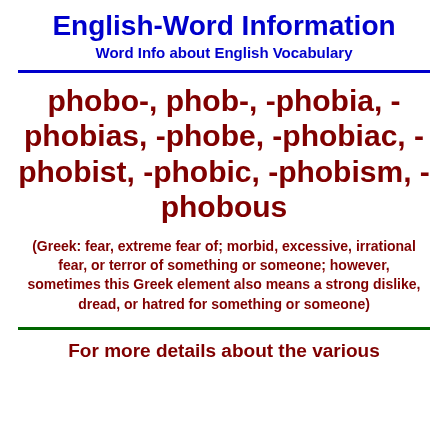English-Word Information
Word Info about English Vocabulary
phobo-, phob-, -phobia, -phobias, -phobe, -phobiac, -phobist, -phobic, -phobism, -phobous
(Greek: fear, extreme fear of; morbid, excessive, irrational fear, or terror of something or someone; however, sometimes this Greek element also means a strong dislike, dread, or hatred for something or someone)
For more details about the various